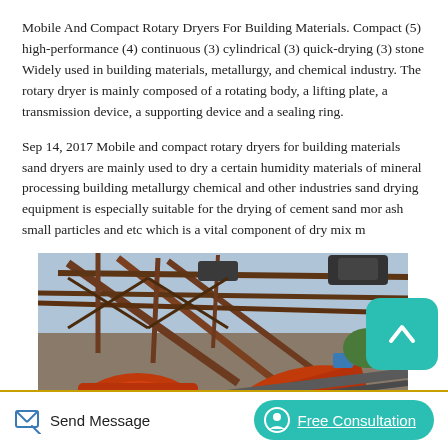Mobile And Compact Rotary Dryers For Building Materials. Compact (5) high-performance (4) continuous (3) cylindrical (3) quick-drying (3) stone Widely used in building materials, metallurgy, and chemical industry. The rotary dryer is mainly composed of a rotating body, a lifting plate, a transmission device, a supporting device and a sealing ring.
Sep 14, 2017 Mobile and compact rotary dryers for building materials sand dryers are mainly used to dry a certain humidity materials of mineral processing building metallurgy chemical and other industries sand drying equipment is especially suitable for the drying of cement sand mor ash small particles and etc which is a vital component of dry mix m
[Figure (photo): Photo of industrial rotary dryer / building materials processing equipment on scaffolding structure with orange/red machinery visible]